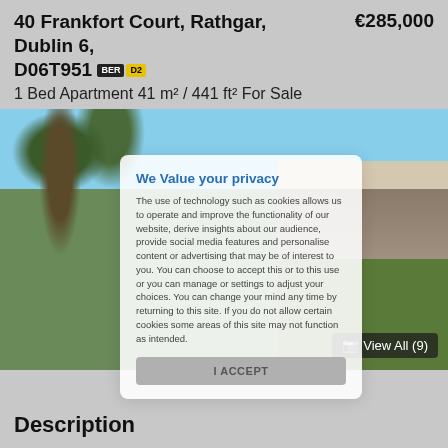40 Frankfort Court, Rathgar, Dublin 6, D06T951 BER D2  €285,000
1 Bed Apartment 41 m² / 441 ft² For Sale
[Figure (photo): Property listing photo showing garden/tree on left and building exterior on right]
View All (9)
We Value your privacy

The use of technology such as cookies allows us to operate and improve the functionality of our website, derive insights about our audience, provide social media features and personalise content or advertising that may be of interest to you. You can choose to accept this or to this use or you can manage or settings to adjust your choices. You can change your mind any time by returning to this site. If you do not allow certain cookies some areas of this site may not function as intended.

I ACCEPT
Description